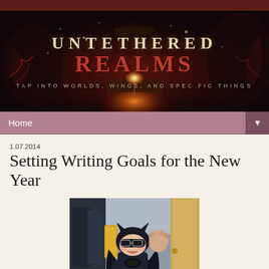[Figure (illustration): Untethered Realms blog banner with dark fantasy artwork showing dragons, winged figures, and a glowing open book. Text reads UNTETHERED REALMS with tagline TAP INTO WORLDS, WINGS, AND SPEC FIC THINGS]
Home ▼
1.07.2014
Setting Writing Goals for the New Year
[Figure (photo): A young child dressed in a Batman costume with mask and cape, raising one hand, standing indoors near a door and coat rack]